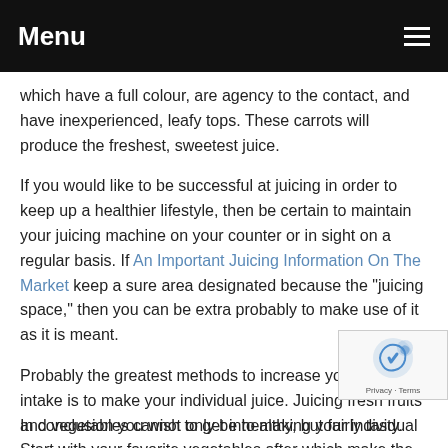Menu
which have a full colour, are agency to the contact, and have inexperienced, leafy tops. These carrots will produce the freshest, sweetest juice.
If you would like to be successful at juicing in order to keep up a healthier lifestyle, then be certain to maintain your juicing machine on your counter or in sight on a regular basis. If An Important Juicing Information On The Market keep a sure area designated because the "juicing space," then you can be extra probably to make use of it as it is meant.
Probably the greatest methods to increase your nutrient intake is to make your individual juice. Juicing fresh fruits and vegetables cannot only be healthy, but fairly tasty. Start with your favorite vegetables after which make the move to fr... You will never want bottled juice again.
In conclusion you wish to get into making your individual